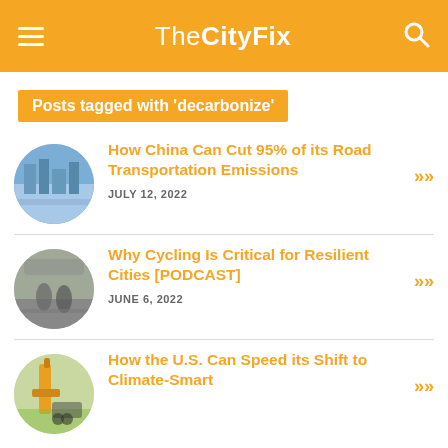TheCityFix
Posts tagged with 'decarbonize'
How China Can Cut 95% of its Road Transportation Emissions
JULY 12, 2022
Why Cycling Is Critical for Resilient Cities [PODCAST]
JUNE 6, 2022
How the U.S. Can Speed its Shift to Climate-Smart